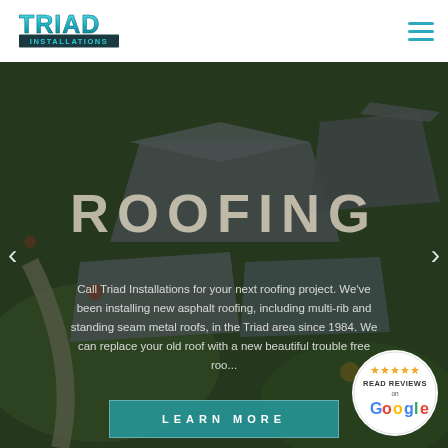[Figure (logo): Triad Installations logo — teal/green 3D block lettering 'TRIAD' above a dark banner reading 'INSTALLATIONS']
[Figure (photo): Aerial drone photograph of residential neighborhood showing rooftops and landscaping, used as hero background image]
ROOFING
Call Triad Installations for your next roofing project. We've been installing new asphalt roofing, including multi-rib and standing seam metal roofs, in the Triad area since 1984. We can replace your old roof with a new beautiful trouble free roo...
[Figure (infographic): Google Reviews badge — circular badge with gold stars, text 'READ REVIEWS on Google' with Google logo in multicolor]
LEARN MORE